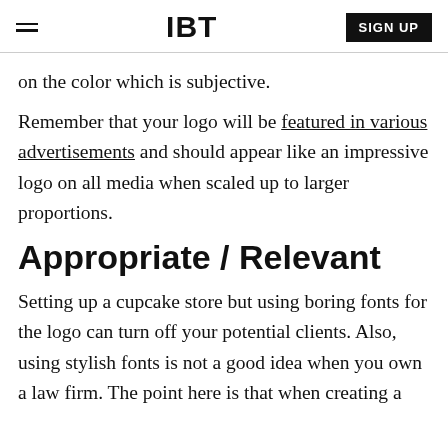IBT | SIGN UP
on the color which is subjective.
Remember that your logo will be featured in various advertisements and should appear like an impressive logo on all media when scaled up to larger proportions.
Appropriate / Relevant
Setting up a cupcake store but using boring fonts for the logo can turn off your potential clients. Also, using stylish fonts is not a good idea when you own a law firm. The point here is that when creating a